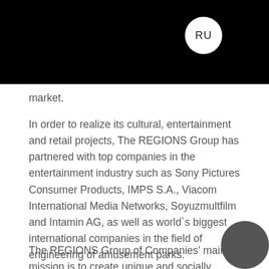[Figure (other): Black header bar with white 'RU' circle button in upper right area]
market.
In order to realize its cultural, entertainment and retail projects, The REGIONS Group has partnered with top companies in the entertainment industry such as Sony Pictures Consumer Products, IMPS S.A., Viacom International Media Networks, Soyuzmultfilm and Intamin AG, as well as world`s biggest international companies in the field of engineering of amusement parks.
The REGIONS Group of Companies' main mission is to create unique and socially significant entertainment and retail facilities in Russia for family leisure, entertainment and shopping; and in doing so improv…